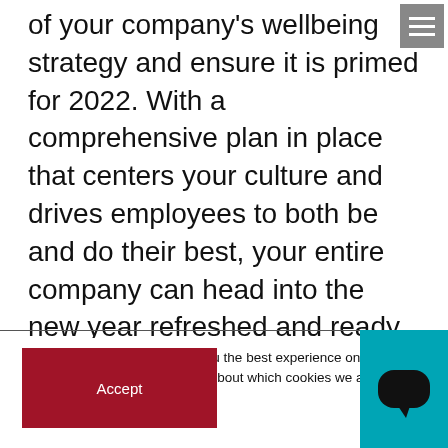of your company's wellbeing strategy and ensure it is primed for 2022. With a comprehensive plan in place that centers your culture and drives employees to both be and do their best, your entire company can head into the new year refreshed and ready for success.
We are using cookies to give you the best experience on our website. You can find out more about which cookies we are using or switch them off in settings.
Accept